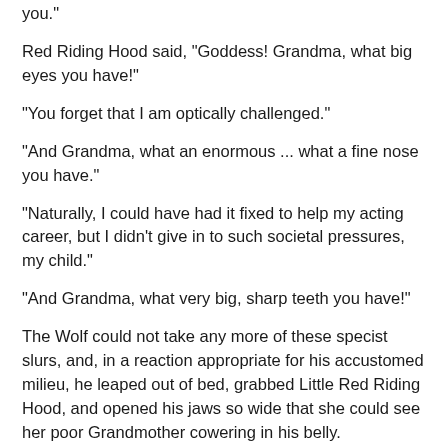you."
Red Riding Hood said, "Goddess! Grandma, what big eyes you have!"
"You forget that I am optically challenged."
"And Grandma, what an enormous ... what a fine nose you have."
"Naturally, I could have had it fixed to help my acting career, but I didn't give in to such societal pressures, my child."
"And Grandma, what very big, sharp teeth you have!"
The Wolf could not take any more of these specist slurs, and, in a reaction appropriate for his accustomed milieu, he leaped out of bed, grabbed Little Red Riding Hood, and opened his jaws so wide that she could see her poor Grandmother cowering in his belly.
"Aren't you forgetting something?" Red Riding Hood bravely